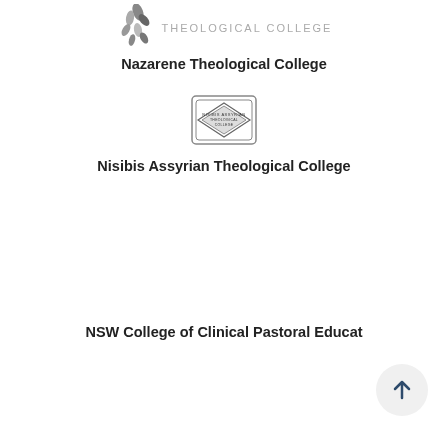[Figure (logo): Nazarene Theological College logo: leaf/dove motif in grayscale with 'THEOLOGICAL COLLEGE' text in gray uppercase letters]
Nazarene Theological College
[Figure (logo): Nisibis Assyrian Theological College badge/crest logo in grayscale]
Nisibis Assyrian Theological College
NSW College of Clinical Pastoral Educat